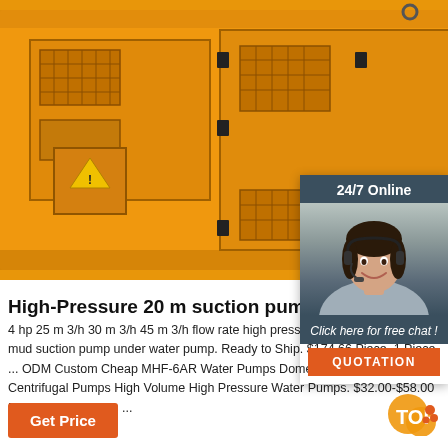[Figure (photo): Orange/yellow industrial high-pressure generator or pump enclosure unit, wide rectangular yellow metal cabinet with ventilation grilles, hatches, and panels. Photographed against white background.]
[Figure (photo): 24/7 Online customer service chat widget with a smiling female agent wearing a headset, dark teal/slate background, 'Click here for free chat!' in italic text, and orange QUOTATION button.]
High-Pressure 20 m suction pump for Comme...
4 hp 25 m 3/h 30 m 3/h 45 m 3/h flow rate high pressure energy saving pump mud suction pump under water pump. Ready to Ship. $174.66 Piece. 1 Piece ... ODM Custom Cheap MHF-6AR Water Pumps Domestic High Suction Lift Centrifugal Pumps High Volume High Pressure Water Pumps. $32.00-$58.00 Piece. 200.0 Pieces ...
Get Price